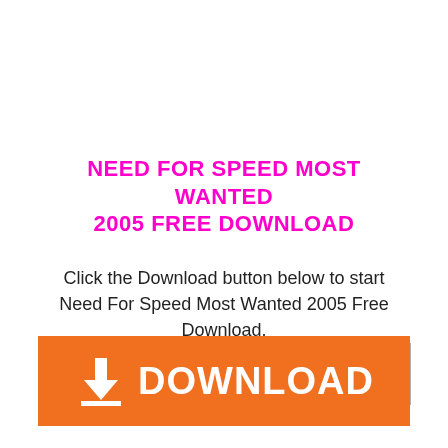NEED FOR SPEED MOST WANTED 2005 FREE DOWNLOAD
Click the Download button below to start Need For Speed Most Wanted 2005 Free Download.
[Figure (other): Gray scroll-to-top button with upward chevron arrow]
[Figure (other): Orange download button with white download arrow icon and DOWNLOAD text]